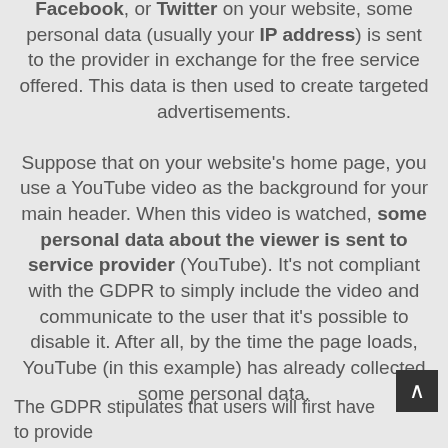Facebook, or Twitter on your website, some personal data (usually your IP address) is sent to the provider in exchange for the free service offered. This data is then used to create targeted advertisements. Suppose that on your website's home page, you use a YouTube video as the background for your main header. When this video is watched, some personal data about the viewer is sent to service provider (YouTube). It's not compliant with the GDPR to simply include the video and communicate to the user that it's possible to disable it. After all, by the time the page loads, YouTube (in this example) has already collected some personal data.
The GDPR stipulates that users will first have to provide